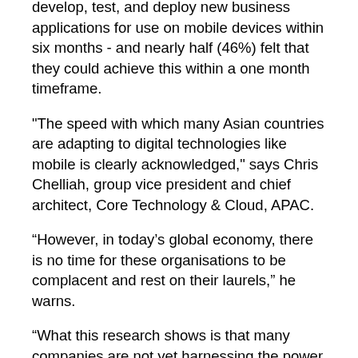develop, test, and deploy new business applications for use on mobile devices within six months - and nearly half (46%) felt that they could achieve this within a one month timeframe.
"The speed with which many Asian countries are adapting to digital technologies like mobile is clearly acknowledged," says Chris Chelliah, group vice president and chief architect, Core Technology & Cloud, APAC.
“However, in today’s global economy, there is no time for these organisations to be complacent and rest on their laurels,” he warns.
“What this research shows is that many companies are not yet harnessing the power of PaaS solutions to further boost agility levels, and so stay ahead of the digital curve,"
Chelliah says the survey results bear out the